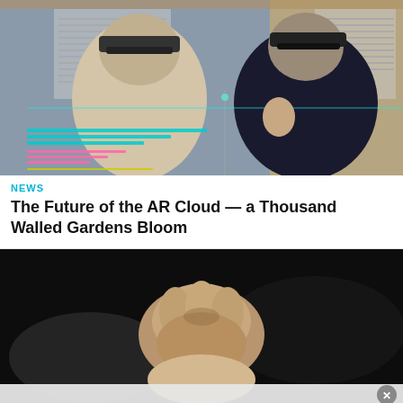[Figure (photo): Two people wearing AR/VR headsets (HoloLens style) in a wooden-paneled room. Both appear to be interacting with augmented reality content. Holographic UI overlays visible in cyan, pink, and yellow horizontal lines.]
NEWS
The Future of the AR Cloud — a Thousand Walled Gardens Bloom
[Figure (photo): Close-up dark photo of a hand holding a small dog paw or animal paw, with a second photo partially visible beneath showing a light-colored fabric or surface. An X close button is visible in the lower right corner.]